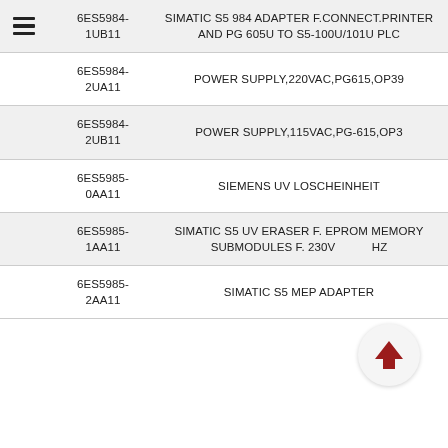6ES5984-1UB11  SIMATIC S5 984 ADAPTER F.CONNECT.PRINTER AND PG 605U TO S5-100U/101U PLC
6ES5984-2UA11  POWER SUPPLY,220VAC,PG615,OP39
6ES5984-2UB11  POWER SUPPLY,115VAC,PG-615,OP3
6ES5985-0AA11  SIEMENS UV LOSCHEINHEIT
6ES5985-1AA11  SIMATIC S5 UV ERASER F. EPROM MEMORY SUBMODULES F. 230V /HZ
6ES5985-2AA11  SIMATIC S5 MEP ADAPTER